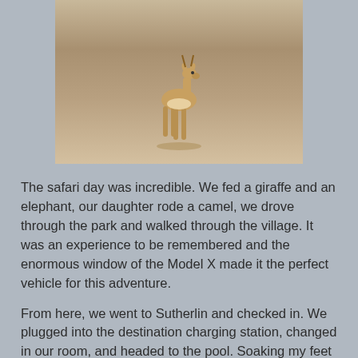[Figure (photo): A young antelope or gazelle standing on dry, sandy ground in a safari setting]
The safari day was incredible. We fed a giraffe and an elephant, our daughter rode a camel, we drove through the park and walked through the village. It was an experience to be remembered and the enormous window of the Model X made it the perfect vehicle for this adventure.
From here, we went to Sutherlin and checked in. We plugged into the destination charging station, changed in our room, and headed to the pool. Soaking my feet in the hot tub was nice after walking around in the village for several hours.
Our next stop is Part5: Elkton Butterfly Pavilion.
Patrick C at 6:00 AM
Share